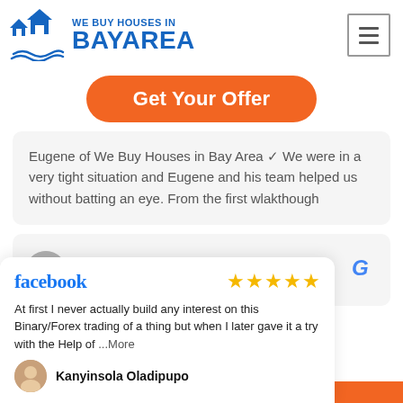[Figure (logo): We Buy Houses in Bay Area logo with house icon in blue]
Get Your Offer
Eugene of We Buy Houses in Bay Area ✓ We were in a very tight situation and Eugene and his team helped us without batting an eye. From the first wlakthough
DeLinda Y.
[Figure (logo): Google G logo]
[Figure (logo): Facebook logo]
★★★★★
At first I never actually build any interest on this Binary/Forex trading of a thing but when I later gave it a try with the Help of ...More
Kanyinsola Oladipupo